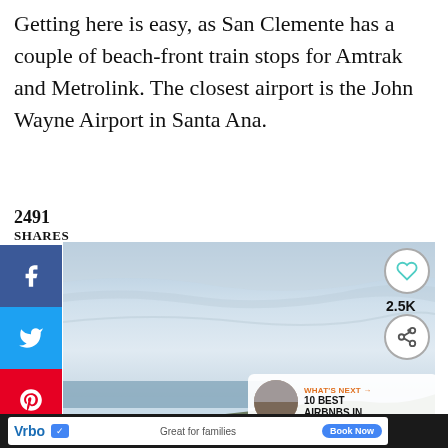Getting here is easy, as San Clemente has a couple of beach-front train stops for Amtrak and Metrolink. The closest airport is the John Wayne Airport in Santa Ana.
2491
SHARES
[Figure (photo): Coastal landscape photo showing cloudy sky over ocean with rocky headland in background. Social sharing buttons (Facebook, Twitter, Pinterest) on left side. Heart/save button and share button overlay (2.5K) on right. 'What's Next' card showing '10 BEST AIRBNBS IN...' in bottom right corner.]
[Figure (screenshot): Advertisement bar at bottom: Vrbo ad with 'Great for families' text and 'Book Now' button on dark background]